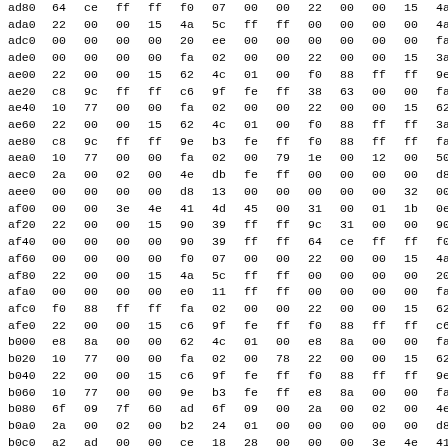| addr | b0 | b1 | b2 | b3 | b4 | b5 | b6 | b7 | b8 | b9 | ba | bb | bc | bd |
| --- | --- | --- | --- | --- | --- | --- | --- | --- | --- | --- | --- | --- | --- | --- |
| ad80 | 64 | ce | ff | ff | f0 | 07 | 00 | 00 | 22 | 00 | 00 | 15 | 4a | 5 |
| ada0 | 22 | 00 | 00 | 15 | 4a | 5c | ff | ff | 00 | 00 | 00 | 00 | 4a | 5 |
| adc0 | 00 | 00 | 00 | 00 | 20 | ee | 00 | 00 | 00 | 00 | 00 | 00 | fa | 0 |
| ade0 | 00 | 00 | 00 | 00 | fa | 02 | 00 | 00 | 22 | 00 | 00 | 15 | 3a | 6 |
| ae00 | 22 | 00 | 00 | 15 | 62 | 4c | 01 | 00 | f0 | 88 | ff | ff | 9e | b |
| ae20 | c8 | 9c | ff | ff | c6 | 9f | fe | ff | 38 | 63 | 00 | 00 | fa | 0 |
| ae40 | 10 | 77 | 00 | 00 | fa | 02 | 00 | 00 | 22 | 00 | 00 | 15 | 62 | 4 |
| ae60 | 22 | 00 | 00 | 15 | 62 | 4c | 01 | 00 | f0 | 88 | ff | ff | 3a | 6 |
| ae80 | c8 | 9c | ff | ff | 9e | b3 | fe | ff | f0 | 88 | ff | ff | fa | 0 |
| aea0 | 10 | 77 | 00 | 00 | fa | 02 | 00 | 79 | 1e | 00 | 12 | 00 | 50 | f |
| aec0 | 2a | 00 | 02 | 00 | 4e | db | fe | ff | 00 | 00 | 00 | 00 | d8 | 1 |
| aee0 | 00 | 00 | 00 | 00 | d8 | 13 | 00 | 00 | 00 | 00 | 00 | 32 | 00 | 0 |
| af00 | 00 | 00 | 3e | 4e | 41 | 4d | 45 | 00 | 31 | 00 | 01 | 1b | 0e | 7 |
| af20 | 22 | 00 | 00 | 15 | 90 | 39 | ff | ff | 9c | 31 | 00 | 00 | 90 | 3 |
| af40 | 00 | 00 | 00 | 00 | 90 | 39 | ff | ff | 64 | ce | ff | ff | f0 | 0 |
| af60 | 00 | 00 | 00 | 00 | f0 | 07 | 00 | 00 | 22 | 00 | 00 | 15 | 4a | 5 |
| af80 | 22 | 00 | 00 | 15 | 4a | 5c | ff | ff | 00 | 00 | 00 | 00 | 20 | e |
| afa0 | 00 | 00 | 00 | 00 | e0 | 11 | ff | ff | 00 | 00 | 00 | 00 | fa | 0 |
| afc0 | f0 | 88 | ff | ff | fa | 02 | 00 | 00 | 22 | 00 | 00 | 15 | 62 | 4 |
| afe0 | 22 | 00 | 00 | 15 | c6 | 9f | fe | ff | f0 | 88 | ff | ff | c6 | 9 |
| b000 | e8 | 8a | 00 | 00 | 62 | 4c | 01 | 00 | e8 | 8a | 00 | 00 | fa | 0 |
| b020 | 10 | 77 | 00 | 00 | fa | 02 | 00 | 78 | 22 | 00 | 00 | 15 | 62 | 4 |
| b040 | 22 | 00 | 00 | 15 | c6 | 9f | fe | ff | f0 | 88 | ff | ff | 9e | b |
| b060 | 10 | 77 | 00 | 00 | 9e | b3 | fe | ff | e8 | 8a | 00 | 00 | fa | 0 |
| b080 | 6f | 09 | 7f | 60 | ad | 6f | 09 | 00 | 2a | 00 | 02 | 00 | 4e | d |
| b0a0 | 2a | 00 | 02 | 00 | b2 | 24 | 01 | 00 | 00 | 00 | 00 | 00 | d8 | 1 |
| b0c0 | a2 | ad | 00 | 00 | ce | 18 | 28 | 00 | 00 | 00 | 3e | 4e | 41 | 4 |
| b0e0 | 00 | 00 | 3e | 56 | 41 | 4c | 55 | 45 | 22 | 00 | 00 | 15 | 90 | 3 |
| b100 | 22 | 00 | 00 | 15 | 90 | 39 | ff | ff | 00 | 00 | 00 | 00 | 90 | 3 |
| b120 | 9c | 31 | 00 | 00 | 4a | 5c | ff | ff | 00 | 00 | 00 | 00 | f0 | 0 |
| b140 | 01 | ce | 55 | 00 | 00 | 07 | 00 | 00 | 00 | 00 | 00 | 15 | 4a | 5 |